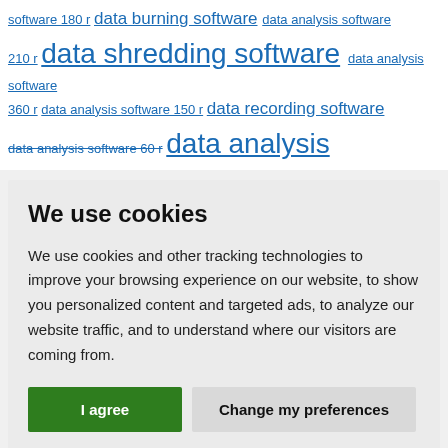software 180 r data burning software data analysis software 210 r data shredding software data analysis software 360 r data analysis software 150 r data recording software data analysis software 60 r data analysis
We use cookies
We use cookies and other tracking technologies to improve your browsing experience on our website, to show you personalized content and targeted ads, to analyze our website traffic, and to understand where our visitors are coming from.
I agree | Change my preferences